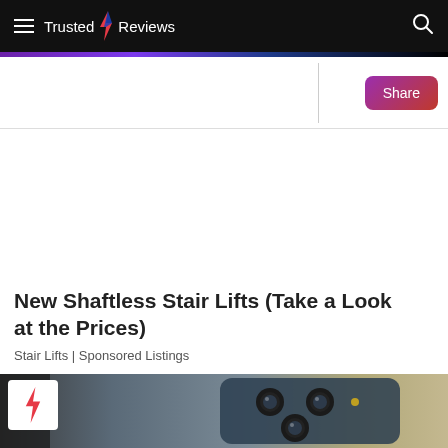Trusted Reviews
[Figure (screenshot): Share button with gradient purple-to-red background]
New Shaftless Stair Lifts (Take a Look at the Prices)
Stair Lifts | Sponsored Listings
[Figure (photo): Close-up photo of iPhone rear camera module with triple-lens system on blue titanium finish, with Trusted Reviews lightning bolt logo badge overlay in top-left corner]